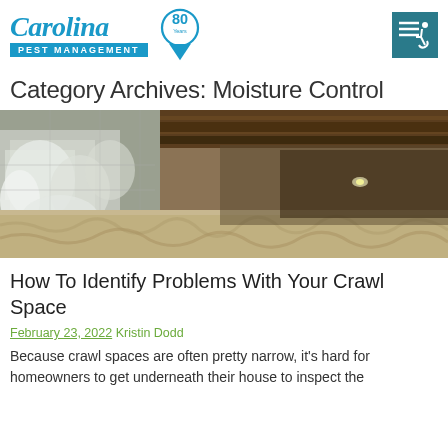Carolina Pest Management — 80 Years
Category Archives: Moisture Control
[Figure (photo): Interior of a crawl space showing a concrete block wall covered in white mold/efflorescence on the left, with exposed wooden floor joists overhead and insulation on the ground extending into the dark background.]
How To Identify Problems With Your Crawl Space
February 23, 2022 Kristin Dodd
Because crawl spaces are often pretty narrow, it's hard for homeowners to get underneath their house to inspect the